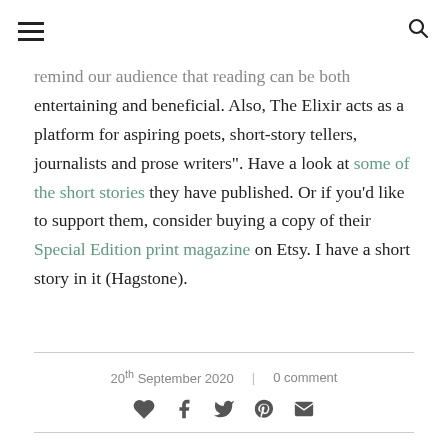[hamburger menu icon] [search icon]
remind our audience that reading can be both entertaining and beneficial. Also, The Elixir acts as a platform for aspiring poets, short-story tellers, journalists and prose writers". Have a look at some of the short stories they have published. Or if you’d like to support them, consider buying a copy of their Special Edition print magazine on Etsy. I have a short story in it (Hagstone).
20th September 2020  |  0 comment
[Figure (infographic): Social sharing icons row: heart (like), facebook, twitter, pinterest, email]